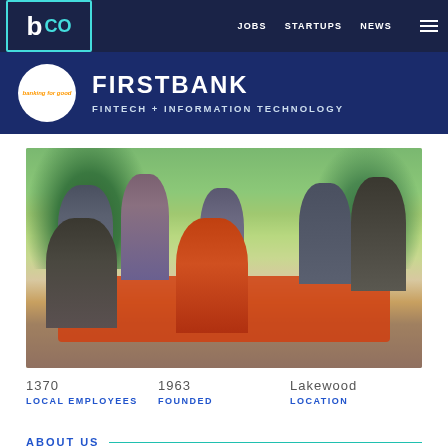b CO  JOBS  STARTUPS  NEWS
FIRSTBANK
FINTECH + INFORMATION TECHNOLOGY
[Figure (photo): Group of people wearing masks at an outdoor event table with orange tablecloth, raising hands/waving, in a park setting]
1370
LOCAL EMPLOYEES
1963
FOUNDED
Lakewood
LOCATION
ABOUT US